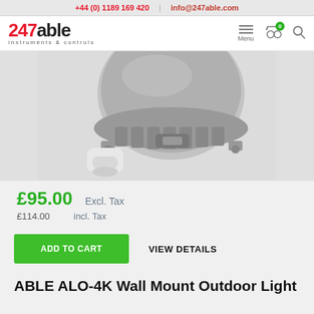+44 (0) 1189 169 420  |  info@247able.com
[Figure (logo): 247able instruments & controls logo with red '247' and black 'able' text]
[Figure (photo): Grey industrial outdoor light fitting with cable gland connector, viewed from below/side]
£95.00  Excl. Tax
£114.00  incl. Tax
ADD TO CART
VIEW DETAILS
ABLE ALO-4K Wall Mount Outdoor Light